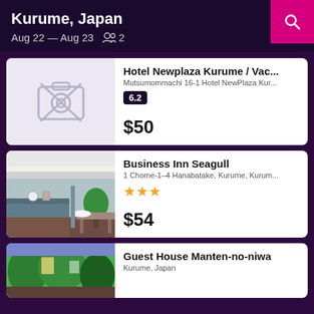Kurume, Japan
Aug 22 — Aug 23   2
Hotel Newplaza Kurume / Vac...
Mutsumommachi 16-1 Hotel NewPlaza Kur...
6.2
$50
[Figure (photo): No-photo placeholder with camera icon]
Business Inn Seagull
1 Chome-1-4 Hanabatake, Kurume, Kurum...
★★★
$54
[Figure (photo): Hotel lobby interior photo showing reception area with plants and wooden floors]
Guest House Manten-no-niwa
Kurume, Japan
[Figure (photo): Garden or exterior photo of Guest House Manten-no-niwa]